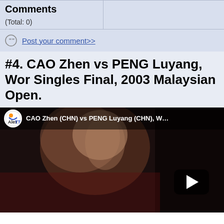| Comments |  |
| --- | --- |
| (Total: 0) |  |
Post your comment>>
#4. CAO Zhen vs PENG Luyang, Wor Singles Final, 2003 Malaysian Open.
[Figure (screenshot): YouTube video thumbnail showing CAO Zhen (CHN) vs PENG Luyang (CHN), Wo... with AlexTT channel logo and play button overlay, dark background with athlete's face visible]